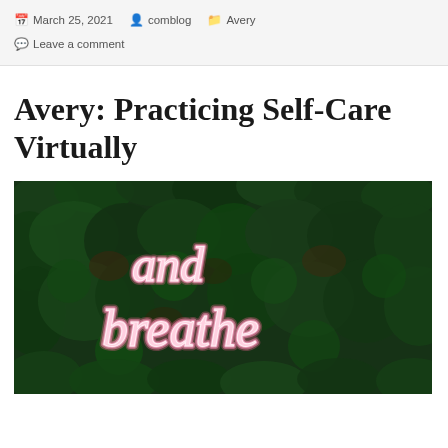March 25, 2021  comblog  Avery  Leave a comment
Avery: Practicing Self-Care Virtually
[Figure (photo): Neon sign reading 'and breathe' in pink cursive light, set against a lush green foliage wall background]